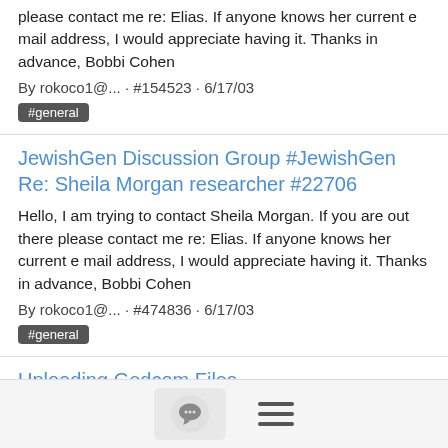please contact me re: Elias. If anyone knows her current e mail address, I would appreciate having it. Thanks in advance, Bobbi Cohen
By rokoco1@... · #154523 · 6/17/03
#general
JewishGen Discussion Group #JewishGen Re: Sheila Morgan researcher #22706
Hello, I am trying to contact Sheila Morgan. If you are out there please contact me re: Elias. If anyone knows her current e mail address, I would appreciate having it. Thanks in advance, Bobbi Cohen
By rokoco1@... · #474836 · 6/17/03
#general
Uploading Gedcom Files
Dear Genners: Can someone tell me what settings we should use in Family Tree Maker when we export a gedcom file for upload. Thanks in advance for any assistance you can give us. A